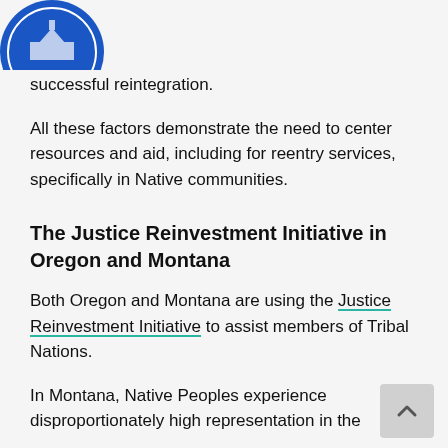[Figure (logo): Partial circular blue logo/seal visible at top left corner]
successful reintegration.
All these factors demonstrate the need to center resources and aid, including for reentry services, specifically in Native communities.
The Justice Reinvestment Initiative in Oregon and Montana
Both Oregon and Montana are using the Justice Reinvestment Initiative to assist members of Tribal Nations.
In Montana, Native Peoples experience disproportionately high representation in the